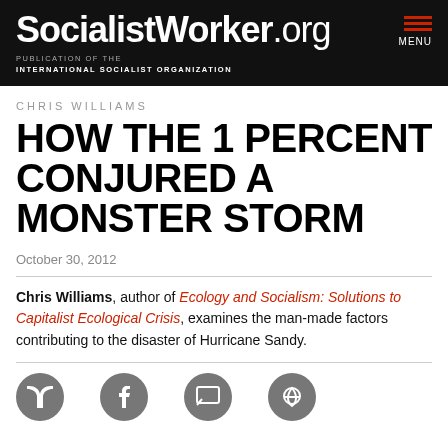SocialistWorker.org — PUBLICATION OF THE INTERNATIONAL SOCIALIST ORGANIZATION — MENU
CHRIS WILLIAMS
HOW THE 1 PERCENT CONJURED A MONSTER STORM
October 30, 2012
Chris Williams, author of Ecology and Socialism: Solutions to Capitalist Ecological Crisis, examines the man-made factors contributing to the disaster of Hurricane Sandy.